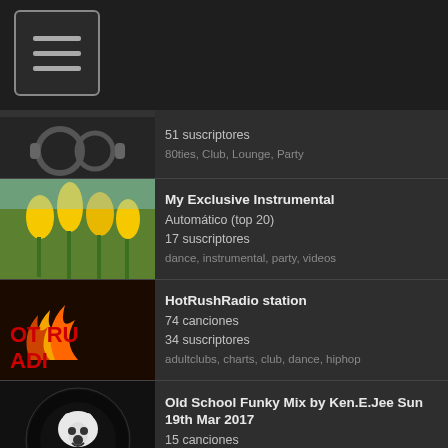[Figure (screenshot): Mobile app navigation hamburger menu icon in top-left corner on dark header bar]
51 suscriptores
80ties, Club, Lounge, Party
My Exclusive Instrumental
Automático (top 20)
17 suscriptores
dance, instrumental, party, videos
HotRushRadio station
74 canciones
34 suscriptores
adultclubs, charts, club, dance, hiphop
Old School Funky Mix by Ken.E.Jee Sun 19th Mar 2017
15 canciones
109 suscriptores
club, dance, deephouse, edm, funk
Playlist Live Power Mix Radio du 14 Mars 2017
54 canciones
71 suscriptores